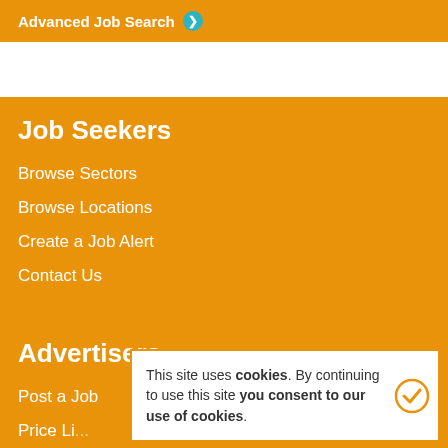Advanced Job Search ❯
Job Seekers
Browse Sectors
Browse Locations
Create a Job Alert
Contact Us
Advertisers
Post a Job
Price Li...
This site uses cookies. By continuing to use this site you consent to our use of cookies.